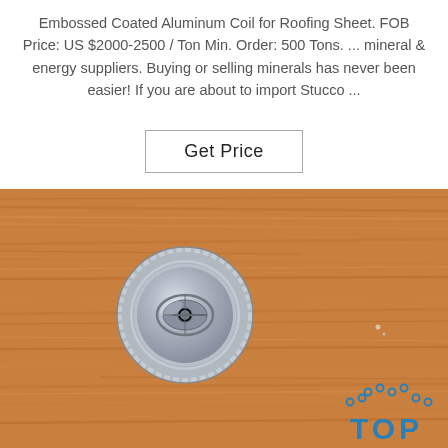Embossed Coated Aluminum Coil for Roofing Sheet. FOB Price: US $2000-2500 / Ton Min. Order: 500 Tons. ... mineral & energy suppliers. Buying or selling minerals has never been easier! If you are about to import Stucco ...
[Figure (other): A 'Get Price' button with border]
[Figure (photo): Photo of a silver metal bottle cap/coil on a wooden surface, with a 'TOP' logo watermark in the bottom right corner]